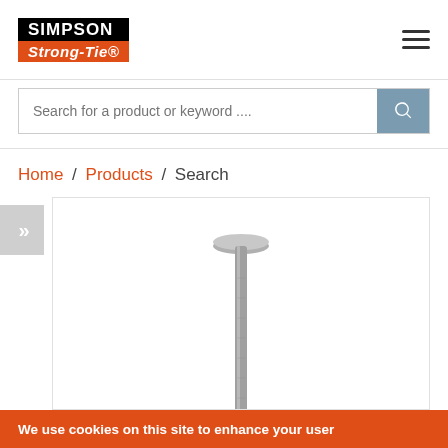[Figure (logo): Simpson Strong-Tie logo with black SIMPSON block and orange Strong-Tie block]
Search for a product or keyword ...
Home / Products / Search
[Figure (photo): A single metallic nail photographed on white background, showing round flat head and long shank]
We use cookies on this site to enhance your user